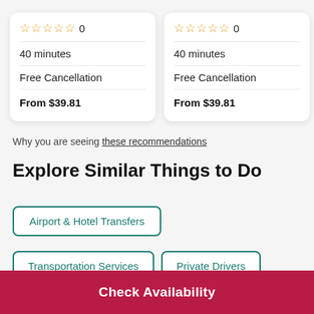★★★★★ 0 | 40 minutes | Free Cancellation | From $39.81 (card 1)
★★★★★ 0 | 40 minutes | Free Cancellation | From $39.81 (card 2)
★★★★★ ... | 35 m... | Free... | From... (partial card 3)
Why you are seeing these recommendations
Explore Similar Things to Do
Airport & Hotel Transfers
Transportation Services
Private Drivers
Check Availability